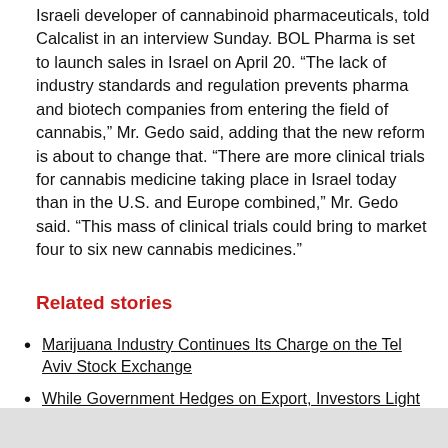Israeli developer of cannabinoid pharmaceuticals, told Calcalist in an interview Sunday. BOL Pharma is set to launch sales in Israel on April 20. “The lack of industry standards and regulation prevents pharma and biotech companies from entering the field of cannabis,” Mr. Gedo said, adding that the new reform is about to change that. “There are more clinical trials for cannabis medicine taking place in Israel today than in the U.S. and Europe combined,” Mr. Gedo said. “This mass of clinical trials could bring to market four to six new cannabis medicines.”
Related stories
Marijuana Industry Continues Its Charge on the Tel Aviv Stock Exchange
While Government Hedges on Export, Investors Light Up Israeli Cannabis Stocks